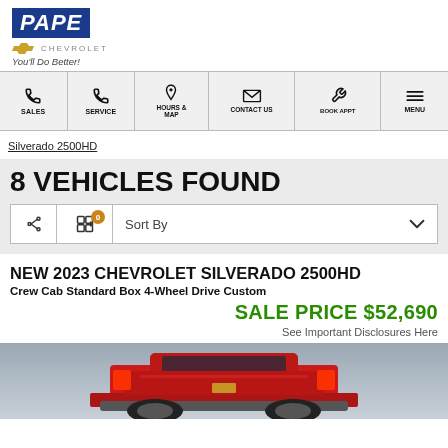[Figure (logo): Pape Chevrolet dealership logo with blue banner text, bowtie emblem, and tagline 'You'll Do Better!']
[Figure (screenshot): Navigation bar with icons: Sales (phone), Service (phone), Hours & Map (pin), Contact Us (envelope), Book Appt (wrench), Menu (hamburger)]
Silverado 2500HD
8 VEHICLES FOUND
[Figure (screenshot): Sort/filter toolbar with share icon, filter icon with badge '0', Sort By dropdown]
NEW 2023 CHEVROLET SILVERADO 2500HD
Crew Cab Standard Box 4-Wheel Drive Custom
SALE PRICE $52,690
See Important Disclosures Here
[Figure (photo): Partial rear view of a red Chevrolet Silverado 2500HD truck on a gray background]